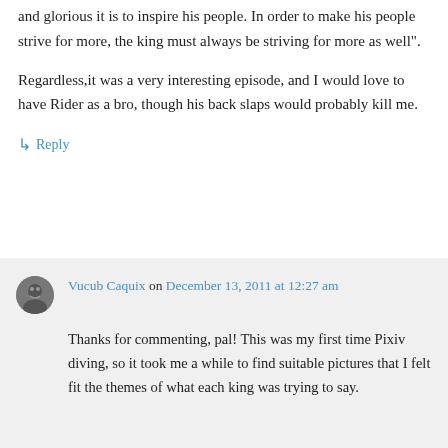and glorious it is to inspire his people. In order to make his people strive for more, the king must always be striving for more as well".
Regardless,it was a very interesting episode, and I would love to have Rider as a bro, though his back slaps would probably kill me.
↳ Reply
Vucub Caquix on December 13, 2011 at 12:27 am
Thanks for commenting, pal! This was my first time Pixiv diving, so it took me a while to find suitable pictures that I felt fit the themes of what each king was trying to say.